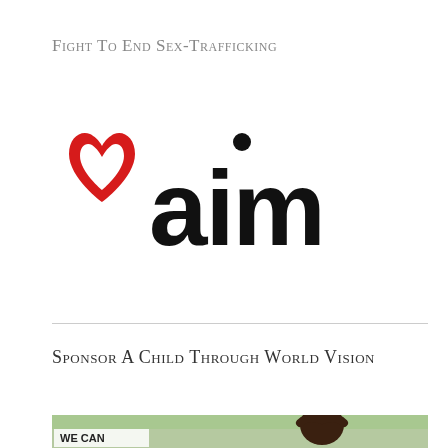Fight To End Sex-Trafficking
[Figure (logo): AIM logo: red heart/envelope shape on the left, bold black lowercase 'aim' text with a dot above the 'i']
Sponsor A Child Through World Vision
[Figure (photo): Photo of a child with hands behind head, outdoors with green background. Text overlay reads 'WE CAN' and partial text below.]